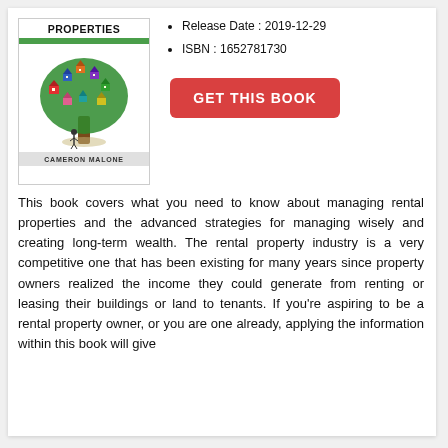[Figure (illustration): Book cover for a rental properties management book by Cameron Malone, featuring a colorful tree with small houses in place of leaves, with green bar and author name at bottom.]
Release Date : 2019-12-29
ISBN : 1652781730
GET THIS BOOK
This book covers what you need to know about managing rental properties and the advanced strategies for managing wisely and creating long-term wealth. The rental property industry is a very competitive one that has been existing for many years since property owners realized the income they could generate from renting or leasing their buildings or land to tenants. If you're aspiring to be a rental property owner, or you are one already, applying the information within this book will give